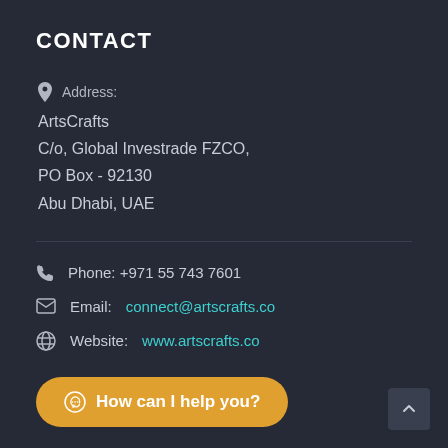CONTACT
Address:
ArtsCrafts
C/o, Global Investrade FZCO,
PO Box - 92130
Abu Dhabi, UAE
Phone: +971 55 743 7601
Email: connect@artscrafts.co
Website: www.artscrafts.co
How can I help you?